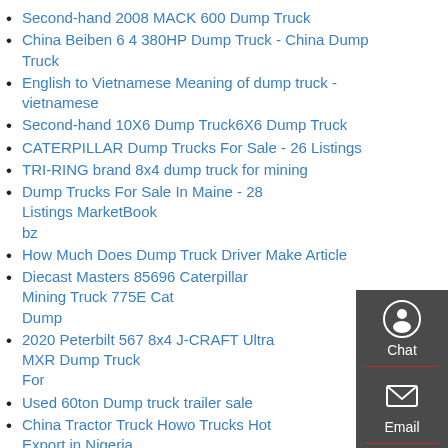Second-hand 2008 MACK 600 Dump Truck
China Beiben 6 4 380HP Dump Truck - China Dump Truck
English to Vietnamese Meaning of dump truck - vietnamese
Second-hand 10X6 Dump Truck6X6 Dump Truck
CATERPILLAR Dump Trucks For Sale - 26 Listings
TRI-RING brand 8x4 dump truck for mining
Dump Trucks For Sale In Maine - 28 Listings MarketBook bz
How Much Does Dump Truck Driver Make Article
Diecast Masters 85696 Caterpillar Mining Truck 775E Cat Dump
2020 Peterbilt 567 8x4 J-CRAFT Ultra MXR Dump Truck For
Used 60ton Dump truck trailer sale
China Tractor Truck Howo Trucks Hot Export in Nigeria
MERCEDES-BENZ Actros 4144 dump truck 8x4 for sale used
high quality FAW 4X2 Tipper Dump Dumper Truck
Used Shacman H3000 Man Axles 8X4 12 Wheeler Tipper